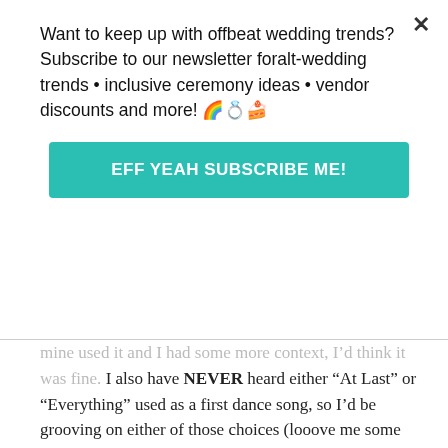Want to keep up with offbeat wedding trends?Subscribe to our newsletter for‎alt-wedding trends • inclusive ceremony ideas • vendor discounts and more! 🌈💍🍰
EFF YEAH SUBSCRIBE ME!
mine used it and I had some more context, I’d think it was fine. I also have NEVER heard either “At Last” or “Everything” used as a first dance song, so I’d be grooving on either of those choices (looove me some Buble). I think its impossible not to HAVE opinions about *theoretical* song choices (it was the reason behind this post, no?) but for me, those opinions and judgments completely disappear when it’s a friend or loved one’s wedding. I have never seen a first dance that wasn’t completely lovely and perfect, no matter my feelings about the song going into the wedding. And even if your friends aren’t as easily swept away by the magic of the moment as I am, no one’s opinion besides yours counts. Who cares if your song is too common or too b…